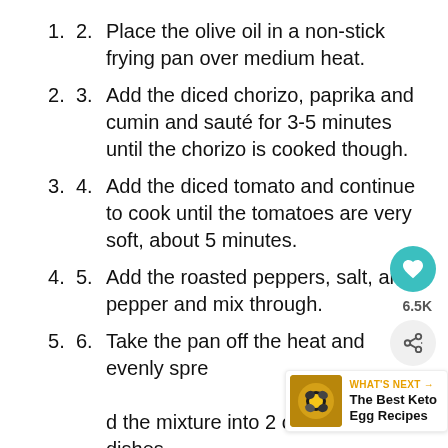2. Place the olive oil in a non-stick frying pan over medium heat.
3. Add the diced chorizo, paprika and cumin and sauté for 3-5 minutes until the chorizo is cooked though.
4. Add the diced tomato and continue to cook until the tomatoes are very soft, about 5 minutes.
5. Add the roasted peppers, salt, and pepper and mix through.
6. Take the pan off the heat and evenly spread the mixture into 2 oven safe dishes.
7. Make a hole in the center of the mixture and crack one egg into each dish.
8. Sprinkle over the manchego cheese and parsley.